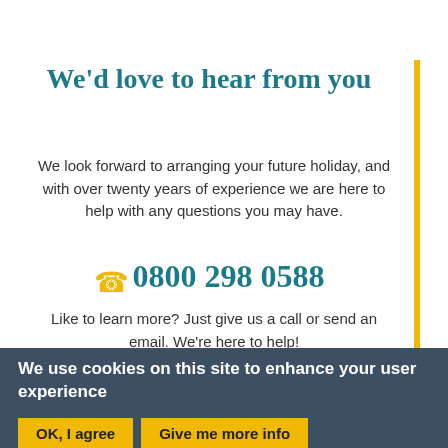We'd love to hear from you
We look forward to arranging your future holiday, and with over twenty years of experience we are here to help with any questions you may have.
☎ 0800 298 0588
Like to learn more? Just give us a call or send an email. We're here to help!
We use cookies on this site to enhance your user experience
OK, I agree
Give me more info